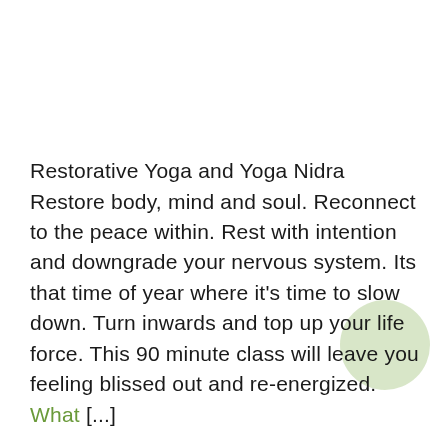Restorative Yoga and Yoga Nidra Restore body, mind and soul. Reconnect to the peace within. Rest with intention and downgrade your nervous system. Its that time of year where it's time to slow down. Turn inwards and top up your life force. This 90 minute class will leave you feeling blissed out and re-energized. What [...]